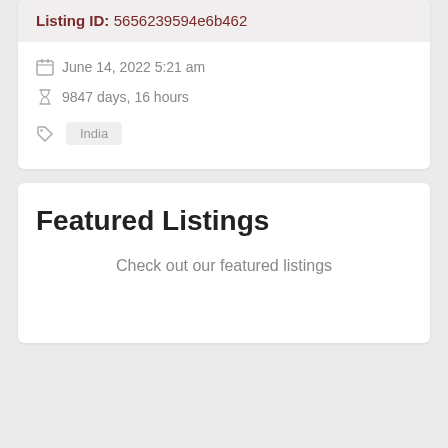Listing ID: 5656239594e6b462
June 14, 2022 5:21 am
9847 days, 16 hours
India
Featured Listings
Check out our featured listings